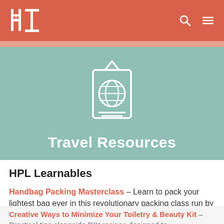HPL logo, search and menu icons
[Figure (illustration): Passport icon (white outline of a passport with globe and lines) on teal background]
Travel Resources
HPL Learnables
Handbag Packing Masterclass – Learn to pack your lightest bag ever in this revolutionary packing class run by HPL founder, Brooke.
Creative Ways to Minimize Your Toiletry & Beauty Kit – Practical tips alongside DIY recipes designed to